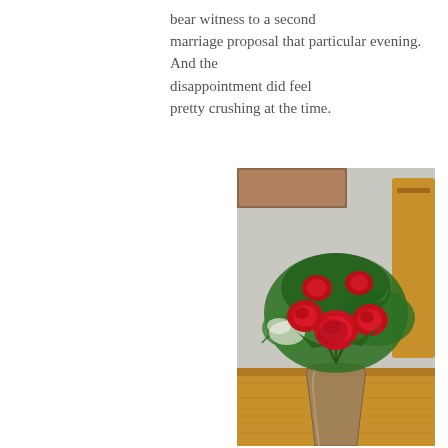bear witness to a second marriage proposal that particular evening. And the disappointment did feel pretty crushing at the time.
[Figure (photo): A bouquet of red roses with green foliage in a glass vase, placed on a wooden table. A wooden chair and a framed picture on the wall are visible in the background.]